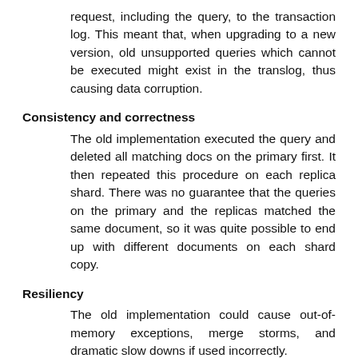request, including the query, to the transaction log. This meant that, when upgrading to a new version, old unsupported queries which cannot be executed might exist in the translog, thus causing data corruption.
Consistency and correctness
The old implementation executed the query and deleted all matching docs on the primary first. It then repeated this procedure on each replica shard. There was no guarantee that the queries on the primary and the replicas matched the same document, so it was quite possible to end up with different documents on each shard copy.
Resiliency
The old implementation could cause out-of-memory exceptions, merge storms, and dramatic slow downs if used incorrectly.